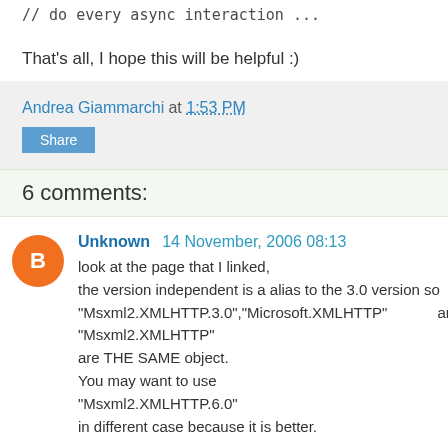// do every async interaction ...
That's all, I hope this will be helpful :)
Andrea Giammarchi at 1:53 PM
Share
6 comments:
Unknown  14 November, 2006 08:13
look at the page that I linked,
the version independent is a alias to the 3.0 version so "Msxml2.XMLHTTP.3.0","Microsoft.XMLHTTP" and "Msxml2.XMLHTTP"
are THE SAME object.
You may want to use
"Msxml2.XMLHTTP.6.0"
in different case because it is better.